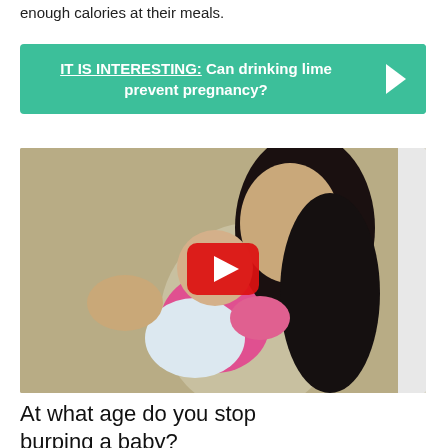enough calories at their meals.
IT IS INTERESTING: Can drinking lime prevent pregnancy?
[Figure (screenshot): Video thumbnail showing a woman with dark hair holding a baby wearing pink/floral clothing, with a YouTube play button overlay in the center.]
At what age do you stop burping a baby?